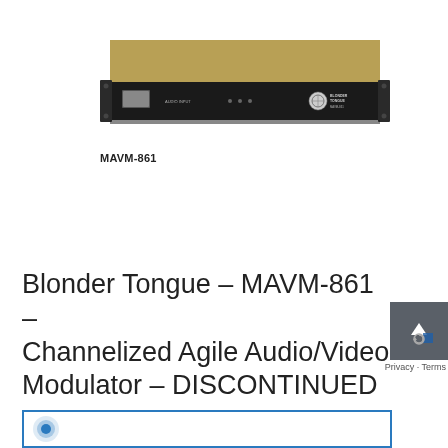[Figure (photo): Photo of the MAVM-861 rack-mount unit — a 1U black metal chassis with front panel controls, logos, and knobs, with a dark bronze/tan top surface visible.]
MAVM-861
Blonder Tongue – MAVM-861 – Channelized Agile Audio/Video Modulator – DISCONTINUED